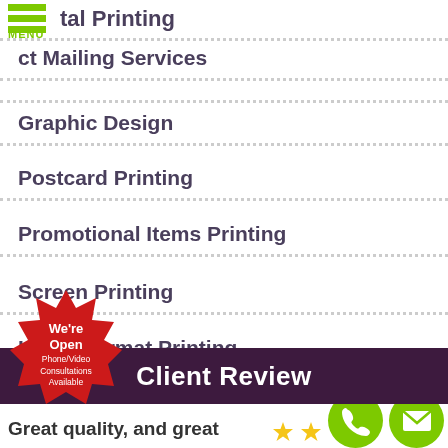tal Printing
ct Mailing Services
Graphic Design
Postcard Printing
Promotional Items Printing
Screen Printing
Large Format Printing
[Figure (other): Red starburst badge with text: We're Open Phone/Video Consultations Available]
Client Review
[Figure (other): Green phone circle icon and green mail circle icon]
Great quality, and great